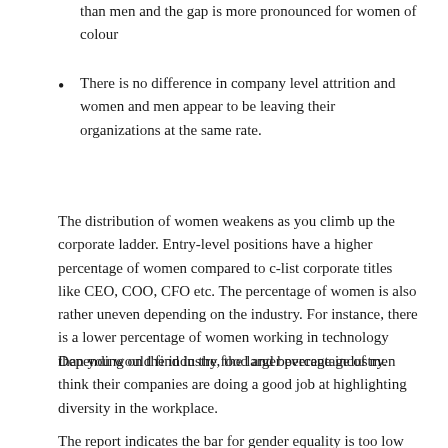than men and the gap is more pronounced for women of colour
There is no difference in company level attrition and women and men appear to be leaving their organizations at the same rate.
The distribution of women weakens as you climb up the corporate ladder. Entry-level positions have a higher percentage of women compared to c-list corporate titles like CEO, COO, CFO etc. The percentage of women is also rather uneven depending on the industry. For instance, there is a lower percentage of women working in technology than you would find in the food and beverage industry.
Depending on the industry, the larger percentage of men think their companies are doing a good job at highlighting diversity in the workplace.
The report indicates the bar for gender equality is too low and